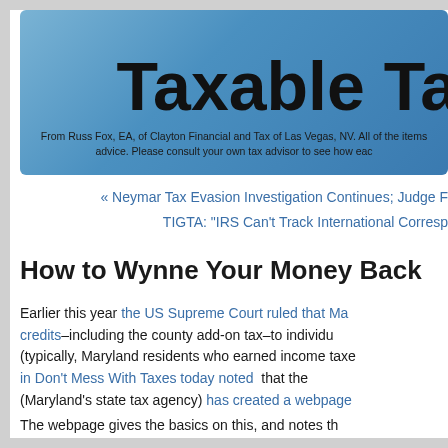Taxable Ta
From Russ Fox, EA, of Clayton Financial and Tax of Las Vegas, NV. All of the items advice. Please consult your own tax advisor to see how eac
« Neymar Tax Evasion Investigation Continues; Judge F TIGTA: "IRS Can't Track International Corresp
How to Wynne Your Money Back
Earlier this year the US Supreme Court ruled that Ma credits–including the county add-on tax–to individu (typically, Maryland residents who earned income taxe in Don't Mess With Taxes today noted that the (Maryland's state tax agency) has created a webpage
The webpage gives the basics on this, and notes th will not be contacting impacted taxpayers. There's a